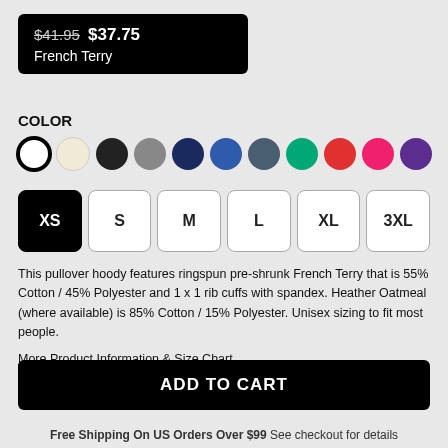$41.95 $37.75 French Terry
COLOR
[Figure (infographic): Color swatches: white (selected), cream, black, gray, navy, blue, slate, green, red, pink, purple]
[Figure (infographic): Size buttons: XS (selected/black), S, M, L, XL, 3XL]
This pullover hoody features ringspun pre-shrunk French Terry that is 55% Cotton / 45% Polyester and 1 x 1 rib cuffs with spandex. Heather Oatmeal (where available) is 85% Cotton / 15% Polyester. Unisex sizing to fit most people.
More Product Information & Size Chart
ADD TO CART
Free Shipping On US Orders Over $99 See checkout for details